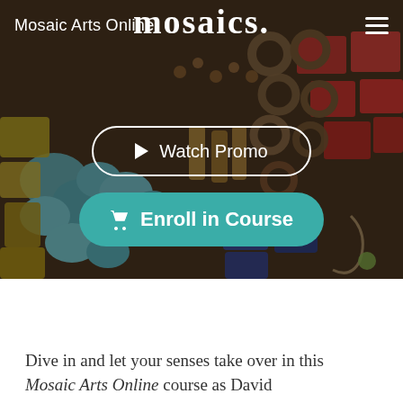[Figure (screenshot): Mosaic arts materials photo background — colorful mosaic tiles, turquoise stones, red glass tiles, brown beads and rings arranged in a decorative mosaic pattern]
mosaics.
Mosaic Arts Online
Watch Promo
Enroll in Course
Dive in and let your senses take over in this Mosaic Arts Online course as David